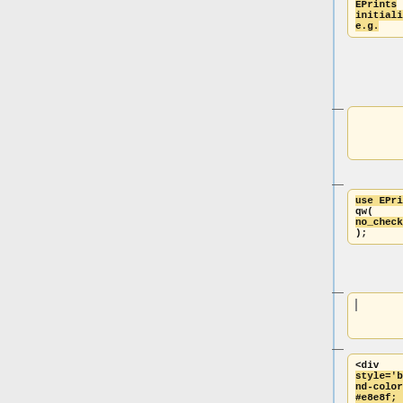[Figure (flowchart): Flowchart diagram showing EPrints initialisation code boxes connected by dashed lines. Box 1 (top): 'EPrints initialisation e.g.' Box 2: empty box with cursor. Box 3: 'use EPrints qw( no_check_user );' Box 4: empty box with cursor. Box 5 (bottom): '<div style=\'background-color: #e8e8f; margin: 0.5em 0em 1em 0em; border: solid 1px #cce; padding: 0em 1em 0em 1em; font-size: 80%; \'>'.]